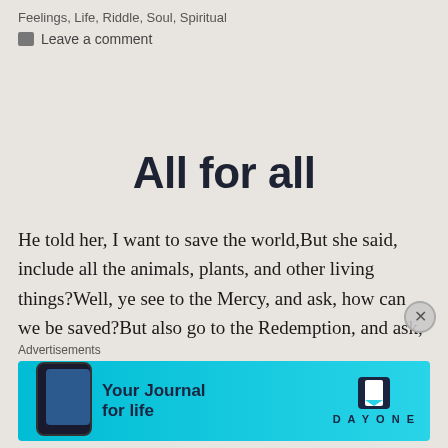Feelings, Life, Riddle, Soul, Spiritual
Leave a comment
All for all
He told her, I want to save the world,But she said, include all the animals, plants, and other living things?Well, ye see to the Mercy, and ask, how can we be saved?But also go to the Redemption, and ask, how can we be forgiven?For the forefathers and…
Advertisements
[Figure (screenshot): Advertisement banner for Day One journal app with cyan background, phone image on left, text 'Your Journal for life' and Day One logo on right]